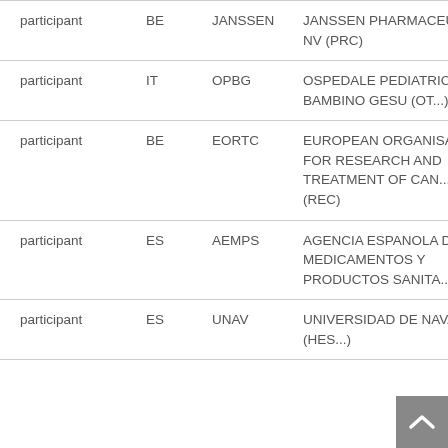| role | country | short name | full name |
| --- | --- | --- | --- |
| participant | BE | JANSSEN | JANSSEN PHARMACEUTICA NV (PRC) |
| participant | IT | OPBG | OSPEDALE PEDIATRICO BAMBINO GESU (OT...) |
| participant | BE | EORTC | EUROPEAN ORGANISATION FOR RESEARCH AND TREATMENT OF CAN... AISBL (REC) |
| participant | ES | AEMPS | AGENCIA ESPANOLA DE MEDICAMENTOS Y PRODUCTOS SANITA... (PUB) |
| participant | ES | UNAV | UNIVERSIDAD DE NAVARRA (HES...) |